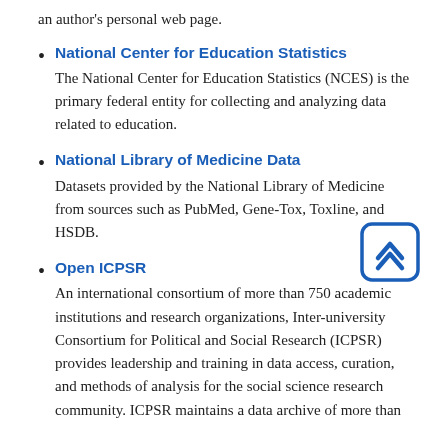an author's personal web page.
National Center for Education Statistics
The National Center for Education Statistics (NCES) is the primary federal entity for collecting and analyzing data related to education.
National Library of Medicine Data
Datasets provided by the National Library of Medicine from sources such as PubMed, Gene-Tox, Toxline, and HSDB.
Open ICPSR
An international consortium of more than 750 academic institutions and research organizations, Inter-university Consortium for Political and Social Research (ICPSR) provides leadership and training in data access, curation, and methods of analysis for the social science research community. ICPSR maintains a data archive of more than